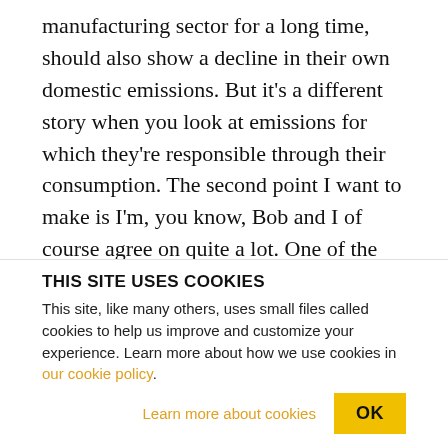manufacturing sector for a long time, should also show a decline in their own domestic emissions. But it's a different story when you look at emissions for which they're responsible through their consumption. The second point I want to make is I'm, you know, Bob and I of course agree on quite a lot. One of the things we agree on is the importance of a whole variety of green investments to improve the relationship between the economy and the environment. But that doesn't get away from the point that the faster the economy grows, the more of
THIS SITE USES COOKIES
This site, like many others, uses small files called cookies to help us improve and customize your experience. Learn more about how we use cookies in our cookie policy.
Learn more about cookies   OK